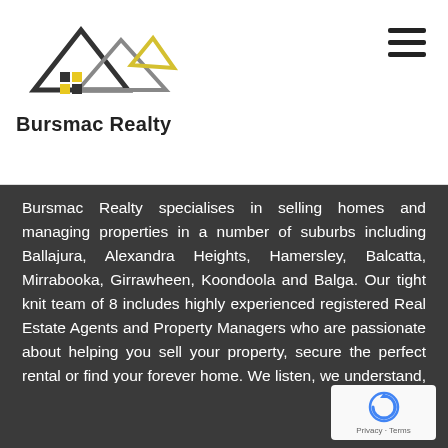[Figure (logo): Bursmac Realty logo: mountain/house outline with dark and yellow peaks, small colored squares, grey accent]
Bursmac Realty
[Figure (other): Hamburger menu icon (three horizontal bars)]
Bursmac Realty specialises in selling homes and managing properties in a number of suburbs including Ballajura, Alexandra Heights, Hamersley, Balcatta, Mirrabooka, Girrawheen, Koondoola and Balga. Our tight knit team of 8 includes highly experienced registered Real Estate Agents and Property Managers who are passionate about helping you sell your property, secure the perfect rental or find your forever home. We listen, we understand, we persist, and we drive results.
Contact Us
[Figure (other): Google reCAPTCHA badge with recycling arrows icon and text Privacy · Terms]